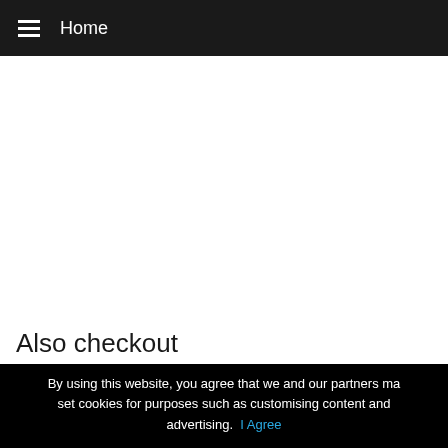Home
[Figure (other): White blank advertisement or content area]
Also checkout
Permutation MCQ
Rearrangement Set 2 MCQ
By using this website, you agree that we and our partners may set cookies for purposes such as customising content and advertising.  I Agree